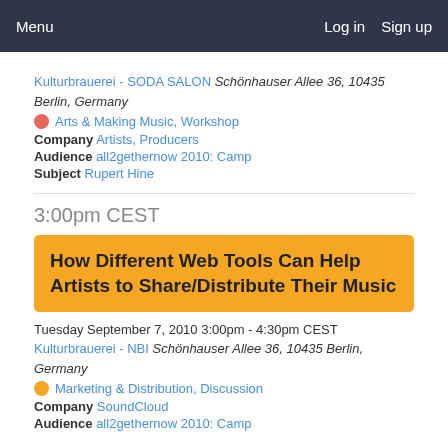Menu  Log in  Sign up
Kulturbrauerei - SODA SALON Schönhauser Allee 36, 10435 Berlin, Germany
Arts & Making Music, Workshop
Company Artists, Producers
Audience all2gethernow 2010: Camp
Subject Rupert Hine
3:00pm CEST
How Different Web Tools Can Help Artists to Share/Distribute Their Music
Tuesday September 7, 2010 3:00pm - 4:30pm CEST
Kulturbrauerei - NBI Schönhauser Allee 36, 10435 Berlin, Germany
Marketing & Distribution, Discussion
Company SoundCloud
Audience all2gethernow 2010: Camp